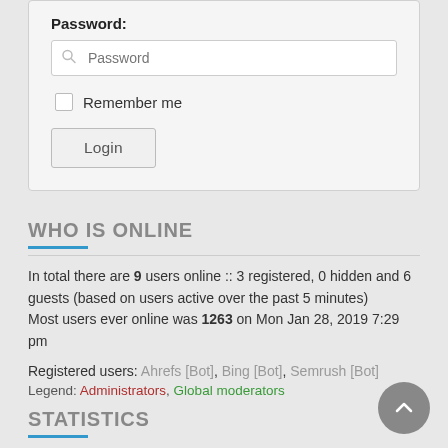Password:
[Figure (screenshot): Password input field with search/key icon placeholder]
Remember me
Login
WHO IS ONLINE
In total there are 9 users online :: 3 registered, 0 hidden and 6 guests (based on users active over the past 5 minutes) Most users ever online was 1263 on Mon Jan 28, 2019 7:29 pm
Registered users: Ahrefs [Bot], Bing [Bot], Semrush [Bot]
Legend: Administrators, Global moderators
STATISTICS